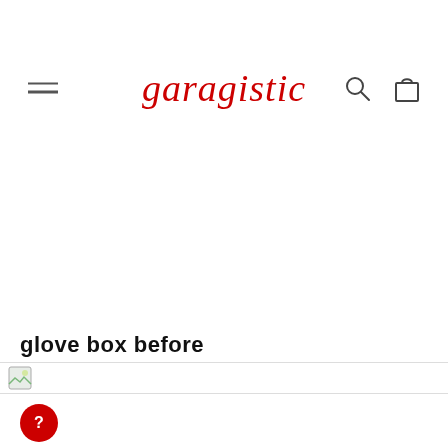garagistic
glove box before
[Figure (photo): Thumbnail image strip at bottom of page]
[Figure (other): Red circular help/question button]